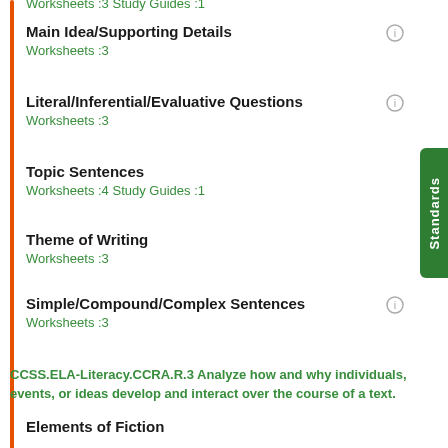Worksheets :3 Study Guides :1
Main Idea/Supporting Details
Worksheets :3
Literal/Inferential/Evaluative Questions
Worksheets :3
Topic Sentences
Worksheets :4 Study Guides :1
Theme of Writing
Worksheets :3
Simple/Compound/Complex Sentences
Worksheets :3
CCSS.ELA-Literacy.CCRA.R.3 Analyze how and why individuals, events, or ideas develop and interact over the course of a text.
Elements of Fiction
Worksheets :4 Study Guides :1
Literary Elements
Worksheets :3
Main Idea
Worksheets :3 Study Guides :1
Supporting Detail